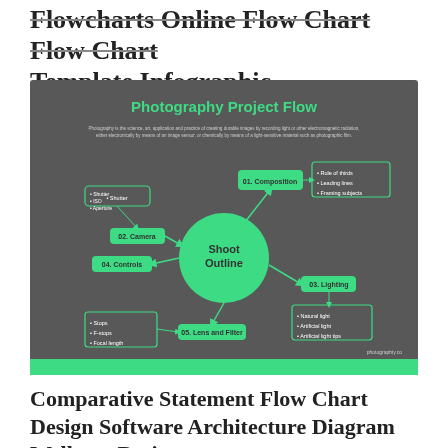Flowcharts Online Flow Chart Flow Chart Template Infographic
[Figure (flowchart): Photography Project Flow chart/mind map on dark gray background with green accents. Central circle labeled 'Shoot Outline' with branches: 01.Composition (top right, with sub-box: Rule of thirds, Leading lines, Framing subjects), 03.Lighting (right middle, with sub-box: Natural light, Artificial light, Artificial light tips), 02.Camera (left middle, with sub-box: Shutter, ISO, Aperture), 04.Controls (left), 05.Lens and Filter (bottom middle, with sub-box: Stops, F-stops, Focal length). Title 'Photography Project Flow' in green. Description text below title. website: photographiy.co]
Comparative Statement Flow Chart Design Software Architecture Diagram Wellness Design